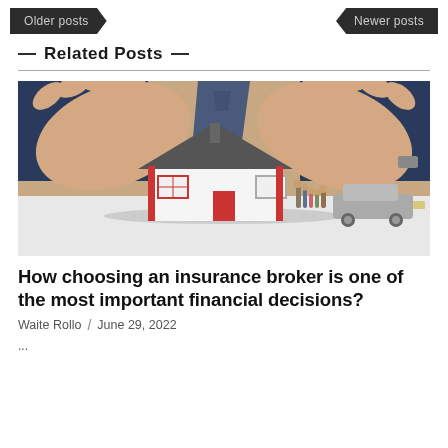Older posts   Newer posts
— Related Posts —
[Figure (photo): A person in a suit forming a protective roof shape with their hands over a miniature house model with small figurines of a family and a toy car beside it, on a white surface.]
How choosing an insurance broker is one of the most important financial decisions?
Waite Rollo  /  June 29, 2022
...